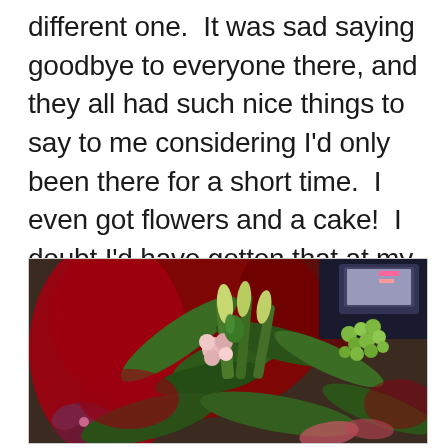different one.  It was sad saying goodbye to everyone there, and they all had such nice things to say to me considering I'd only been there for a short time.  I even got flowers and a cake!  I doubt I'd have gotten that at my old job after five years.
[Figure (photo): A bouquet of flowers including tulips, hyacinths, lilies, and orchids wrapped in red paper, photographed on a desk with a computer monitor visible in the background.]